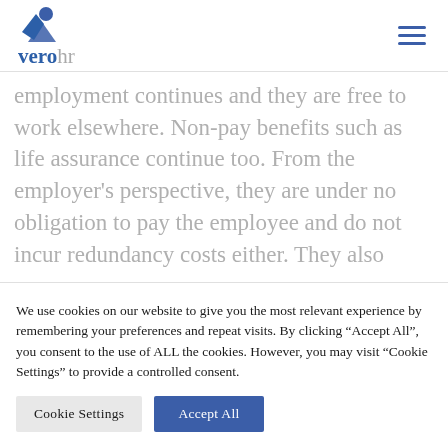[Figure (logo): VeroHR logo: blue person/shield icon above the text 'vero' in bold blue and 'hr' in grey]
employment continues and they are free to work elsewhere. Non-pay benefits such as life assurance continue too. From the employer's perspective, they are under no obligation to pay the employee and do not incur redundancy costs either. They also
We use cookies on our website to give you the most relevant experience by remembering your preferences and repeat visits. By clicking “Accept All”, you consent to the use of ALL the cookies. However, you may visit “Cookie Settings” to provide a controlled consent.